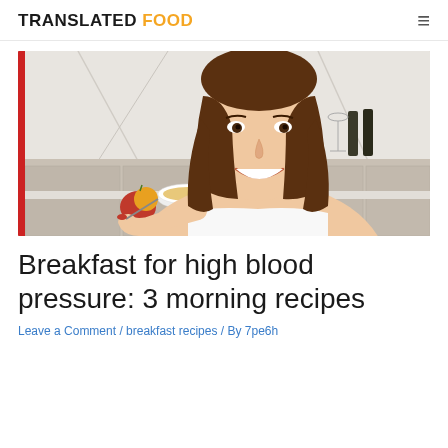TRANSLATED FOOD
[Figure (photo): Young woman with long brown hair smiling, eating cereal from a white bowl at a kitchen counter with an apple and orange juice, modern kitchen background with marble walls]
Breakfast for high blood pressure: 3 morning recipes
Leave a Comment / breakfast recipes / By 7pe6h